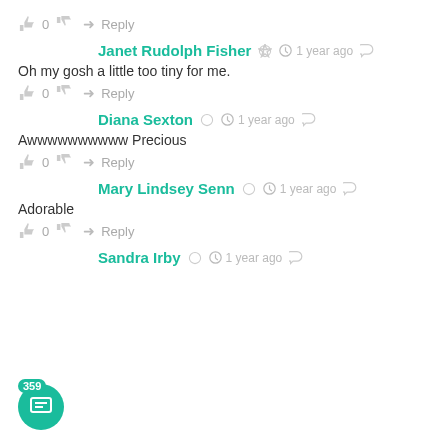👍 0 👎 ➜ Reply
Janet Rudolph Fisher • 1 year ago
Oh my gosh a little too tiny for me.
👍 0 👎 ➜ Reply
Diana Sexton • 1 year ago
Awwwwwwwwww Precious
👍 0 👎 ➜ Reply
Mary Lindsey Senn • 1 year ago
Adorable
👍 0 👎 ➜ Reply
Sandra Irby • 1 year ago